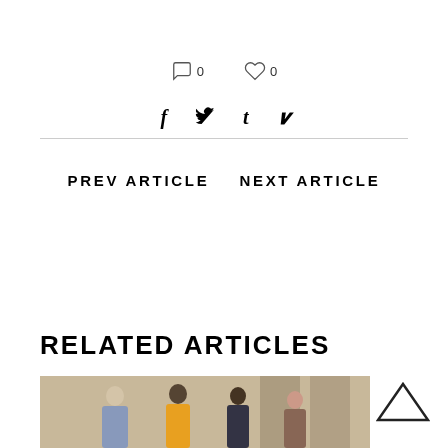[Figure (other): Social interaction icons: speech bubble with count 0, heart with count 0]
[Figure (other): Social sharing icons: Facebook (f), Twitter (bird), Tumblr (t), Pinterest (p)]
PREV ARTICLE   NEXT ARTICLE
RELATED ARTICLES
[Figure (photo): Group of young people (teenagers/young adults) standing together, one in yellow top]